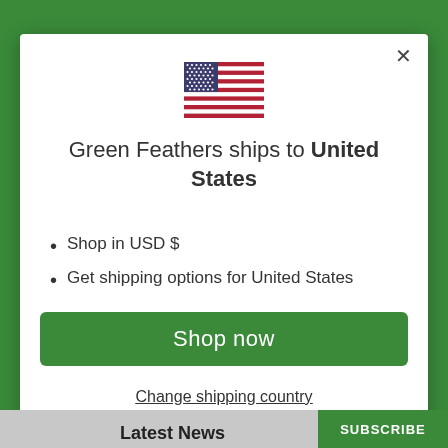[Figure (illustration): US flag emoji/icon displayed in the modal dialog]
Green Feathers ships to United States
Shop in USD $
Get shipping options for United States
Shop now
Change shipping country
Latest News
SUBSCRIBE